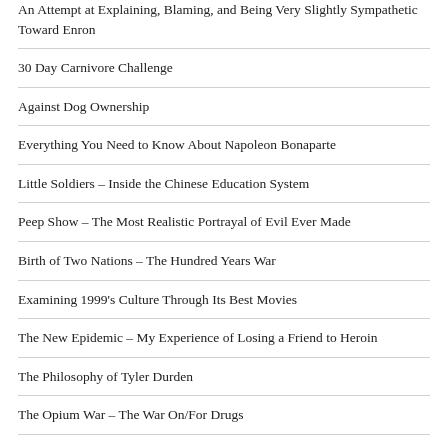An Attempt at Explaining, Blaming, and Being Very Slightly Sympathetic Toward Enron
30 Day Carnivore Challenge
Against Dog Ownership
Everything You Need to Know About Napoleon Bonaparte
Little Soldiers – Inside the Chinese Education System
Peep Show – The Most Realistic Portrayal of Evil Ever Made
Birth of Two Nations – The Hundred Years War
Examining 1999's Culture Through Its Best Movies
The New Epidemic – My Experience of Losing a Friend to Heroin
The Philosophy of Tyler Durden
The Opium War – The War On/For Drugs
Hillbilly Elegy – The Culture of White American Poverty